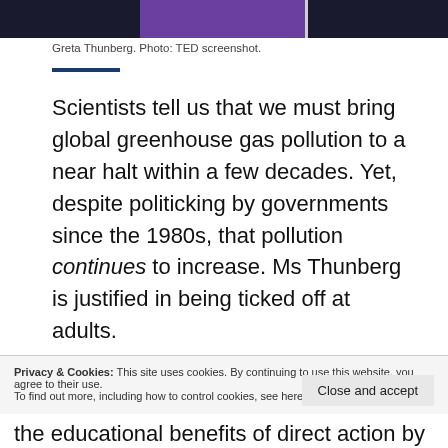[Figure (photo): Cropped photo strip showing Greta Thunberg on a dark/purple stage background, TED screenshot]
Greta Thunberg. Photo: TED screenshot.
Scientists tell us that we must bring global greenhouse gas pollution to a near halt within a few decades. Yet, despite politicking by governments since the 1980s, that pollution continues to increase. Ms Thunberg is justified in being ticked off at adults.
The Education Bureau is opposed to the strike on
Privacy & Cookies: This site uses cookies. By continuing to use this website, you agree to their use.
To find out more, including how to control cookies, see here: Cookie Policy
the educational benefits of direct action by